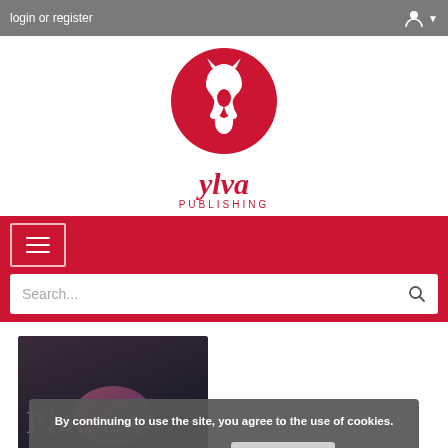login or register
[Figure (logo): Ylva Publishing logo — red circle with white howling wolf silhouette, text 'ylva PUBLISHING' below in red]
[Figure (screenshot): Red navigation bar with hamburger menu button and search bar]
[Figure (photo): Partial book cover showing 'Pink' by KD Williamson on dark background]
By continuing to use the site, you agree to the use of cookies.
more information
ACCEPT